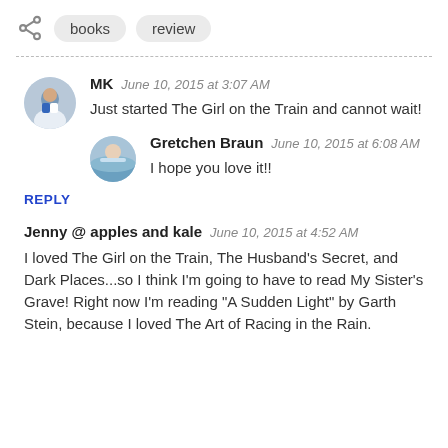books  review
MK  June 10, 2015 at 3:07 AM
Just started The Girl on the Train and cannot wait!
Gretchen Braun  June 10, 2015 at 6:08 AM
I hope you love it!!
REPLY
Jenny @ apples and kale  June 10, 2015 at 4:52 AM
I loved The Girl on the Train, The Husband's Secret, and Dark Places...so I think I'm going to have to read My Sister's Grave! Right now I'm reading "A Sudden Light" by Garth Stein, because I loved The Art of Racing in the Rain.